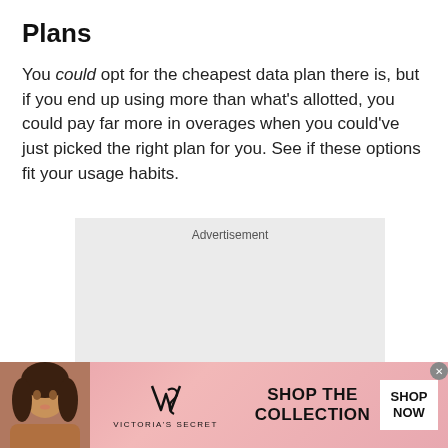Plans
You could opt for the cheapest data plan there is, but if you end up using more than what's allotted, you could pay far more in overages when you could've just picked the right plan for you. See if these options fit your usage habits.
[Figure (other): Advertisement placeholder box with light gray background and the word 'Advertisement' centered at top]
[Figure (other): Victoria's Secret banner advertisement with a woman's photo on left, VS logo and brand name in center, 'SHOP THE COLLECTION' text and a white 'SHOP NOW' button on right, on a pink background]